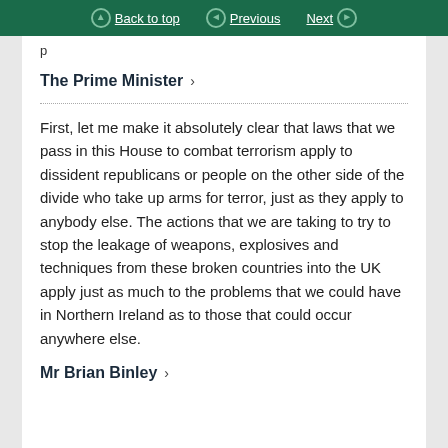Back to top | Previous | Next
p
The Prime Minister >
First, let me make it absolutely clear that laws that we pass in this House to combat terrorism apply to dissident republicans or people on the other side of the divide who take up arms for terror, just as they apply to anybody else. The actions that we are taking to try to stop the leakage of weapons, explosives and techniques from these broken countries into the UK apply just as much to the problems that we could have in Northern Ireland as to those that could occur anywhere else.
Mr Brian Binley >